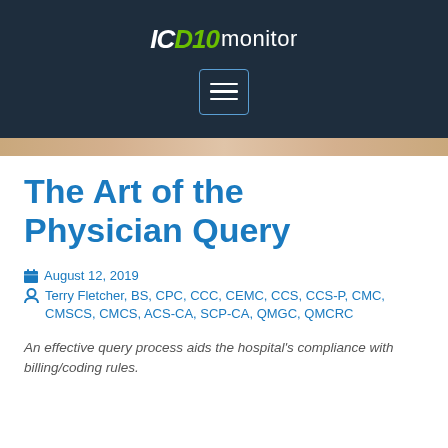ICD10 monitor
The Art of the Physician Query
August 12, 2019
Terry Fletcher, BS, CPC, CCC, CEMC, CCS, CCS-P, CMC, CMSCS, CMCS, ACS-CA, SCP-CA, QMGC, QMCRC
An effective query process aids the hospital's compliance with billing/coding rules.